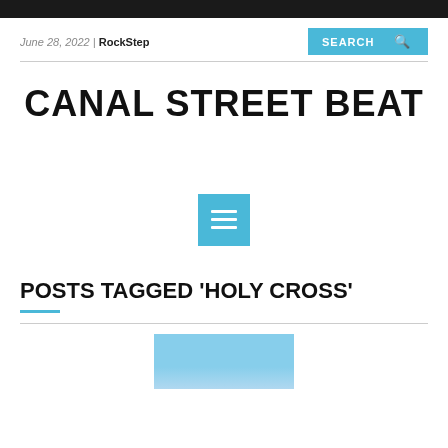June 28, 2022 | RockStep
CANAL STREET BEAT
[Figure (other): Blue square menu/hamburger button icon with three horizontal white lines]
POSTS TAGGED ‘HOLY CROSS’
[Figure (photo): Partial thumbnail image showing blue sky with clouds]